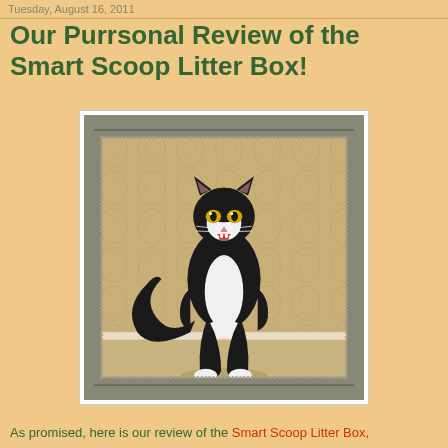Tuesday, August 16, 2011
Our Purrsonal Review of the Smart Scoop Litter Box!
[Figure (photo): A black and white tuxedo cat standing upright on hind legs with a surprised/open-mouthed expression, posed in front of an ornate damask wallpaper background, displayed within a decorative silver/pewter picture frame]
As promised, here is our review of the Smart Scoop Litter Box,